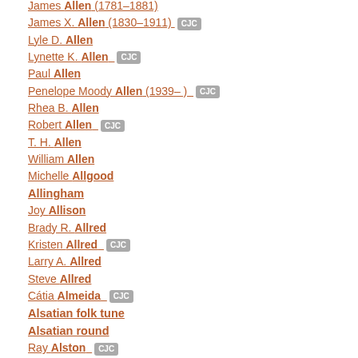James Allen (1781–1881)
James X. Allen (1830–1911) CJC
Lyle D. Allen
Lynette K. Allen CJC
Paul Allen
Penelope Moody Allen (1939– ) CJC
Rhea B. Allen
Robert Allen CJC
T. H. Allen
William Allen
Michelle Allgood
Allingham
Joy Allison
Brady R. Allred
Kristen Allred CJC
Larry A. Allred
Steve Allred
Cátia Almeida CJC
Alsatian folk tune
Alsatian round
Ray Alston CJC
Robert H. Alston (partial)